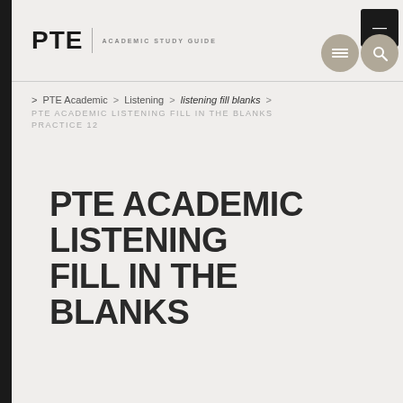PTE | ACADEMIC STUDY GUIDE
PTE Academic > Listening > listening fill blanks > PTE ACADEMIC LISTENING FILL IN THE BLANKS PRACTICE 12
PTE ACADEMIC LISTENING FILL IN THE BLANKS